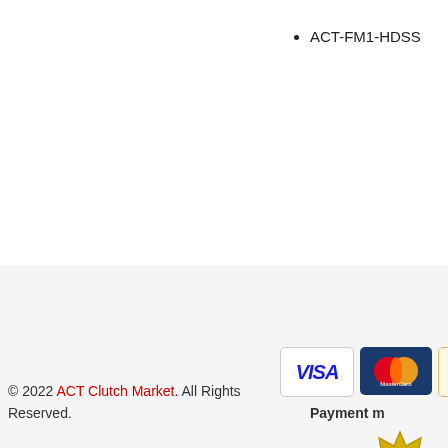ACT-FM1-HDSS
[Figure (other): Payment method icons: VISA, MasterCard, PayPal, and a partially visible fourth card]
Payment m...
[Figure (other): Gold seal/badge partially visible on the right side]
© 2022 ACT Clutch Market. All Rights Reserved.